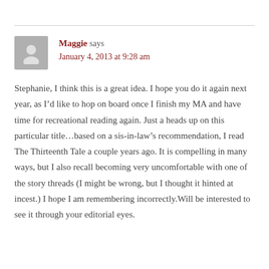Maggie says
January 4, 2013 at 9:28 am
Stephanie, I think this is a great idea. I hope you do it again next year, as I’d like to hop on board once I finish my MA and have time for recreational reading again. Just a heads up on this particular title…based on a sis-in-law’s recommendation, I read The Thirteenth Tale a couple years ago. It is compelling in many ways, but I also recall becoming very uncomfortable with one of the story threads (I might be wrong, but I thought it hinted at incest.) I hope I am remembering incorrectly.Will be interested to see it through your editorial eyes.